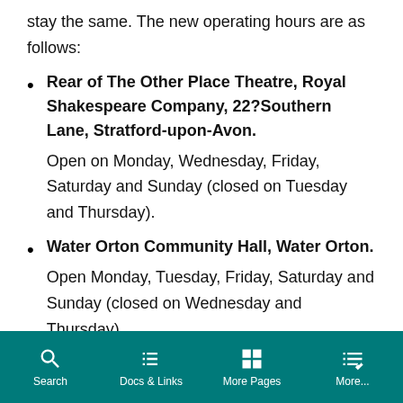stay the same. The new operating hours are as follows:
Rear of The Other Place Theatre, Royal Shakespeare Company, 22?Southern Lane, Stratford-upon-Avon. Open on Monday, Wednesday, Friday, Saturday and Sunday (closed on Tuesday and Thursday).
Water Orton Community Hall, Water Orton. Open Monday, Tuesday, Friday, Saturday and Sunday (closed on Wednesday and Thursday).
Search | Docs & Links | More Pages | More...